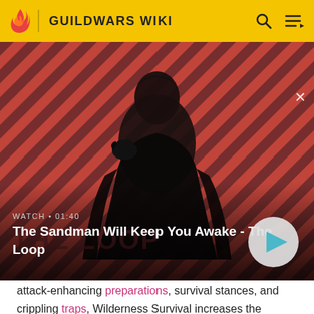GUILDWARS WIKI
[Figure (screenshot): Video thumbnail showing a dark-clothed figure with a raven on their shoulder against a red and dark diagonal striped background, with 'THE LOOP' text visible. Overlay shows 'WATCH • 01:40' and title 'The Sandman Will Keep You Awake - The Loop' with a play button.]
attack-enhancing preparations, survival stances, and crippling traps, Wilderness Survival increases the Ranger's offensive and supportive effectiveness.
Wilderness Survival skills
Unlinked Ranger Skills